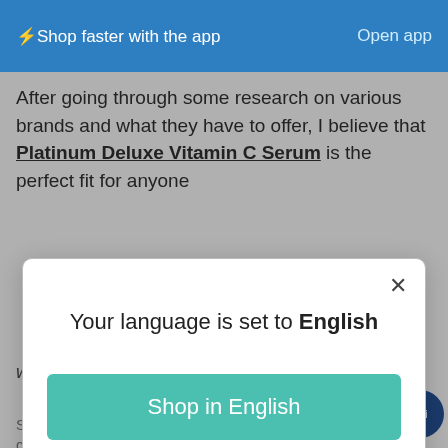⚡Shop faster with the app   Open app
After going through some research on various brands and what they have to offer, I believe that Platinum Deluxe Vitamin C Serum is the perfect fit for anyone
[Figure (screenshot): Modal dialog box with message 'Your language is set to English', a teal 'Shop in English' button, and a 'Change language' link. Has an X close button in top right.]
while revitalising dull, ageing skins.
Something else that makes Platinum Deluxe an excellent choice is the fact that you do not need to use much of it
[Figure (other): Dark pill-shaped chat button labeled 'Chatte mit uns']
[Figure (other): Row of icon badges: Google Maps pin, green lock, '30' badge, Shopify bag, PCI logo]